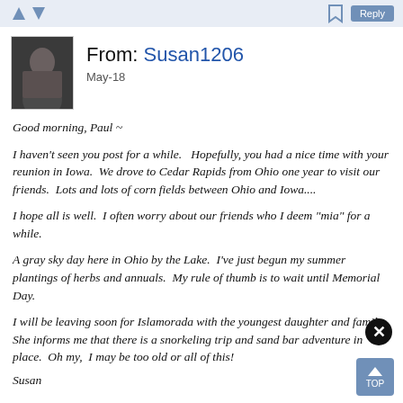13800 of 14053 to JavaNY ⊘    Re: msg 13786
[Figure (photo): Small avatar photo of a person in dark clothing]
From: Susan1206
May-18
Good morning, Paul ~
I haven't seen you post for a while.   Hopefully, you had a nice time with your reunion in Iowa.  We drove to Cedar Rapids from Ohio one year to visit our friends.  Lots and lots of corn fields between Ohio and Iowa....
I hope all is well.  I often worry about our friends who I deem "mia" for a while.
A gray sky day here in Ohio by the Lake.  I've just begun my summer plantings of herbs and annuals.  My rule of thumb is to wait until Memorial Day.
I will be leaving soon for Islamorada with the youngest daughter and family.  She informs me that there is a snorkeling trip and sand bar adventure in place.  Oh my,  I may be too old or all of this!
Susan